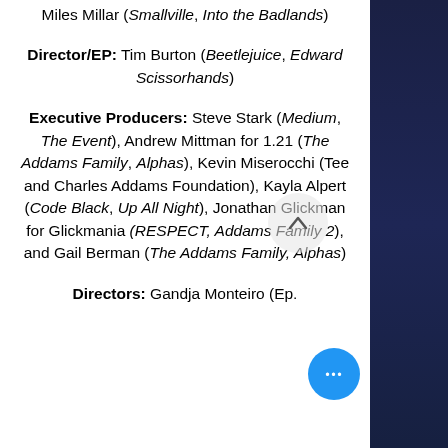Miles Millar (Smallville, Into the Badlands)
Director/EP: Tim Burton (Beetlejuice, Edward Scissorhands)
Executive Producers: Steve Stark (Medium, The Event), Andrew Mittman for 1.21 (The Addams Family, Alphas), Kevin Miserocchi (Tee and Charles Addams Foundation), Kayla Alpert (Code Black, Up All Night), Jonathan Glickman for Glickmania (RESPECT, Addams Family 2), and Gail Berman (The Addams Family, Alphas)
Directors: Gandja Monteiro (Ep.